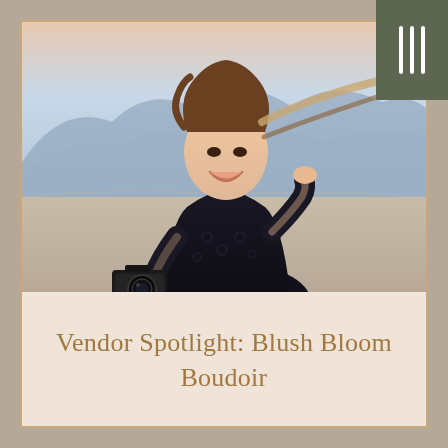[Figure (photo): A woman with long brown and blonde hair laughing joyfully, wearing a black lace long-sleeve top, holding a DSLR camera in one hand with the other hand raised behind her head. Wind-blown hair, outdoor desert/lake bed setting with mountains in the background and dramatic sky. Subject is photographed from waist up.]
Vendor Spotlight: Blush Bloom Boudoir